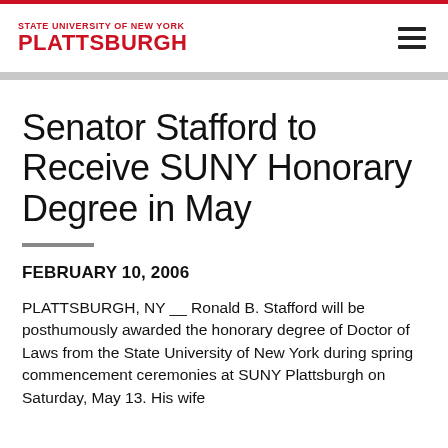STATE UNIVERSITY OF NEW YORK PLATTSBURGH
Senator Stafford to Receive SUNY Honorary Degree in May
FEBRUARY 10, 2006
PLATTSBURGH, NY __ Ronald B. Stafford will be posthumously awarded the honorary degree of Doctor of Laws from the State University of New York during spring commencement ceremonies at SUNY Plattsburgh on Saturday, May 13. His wife